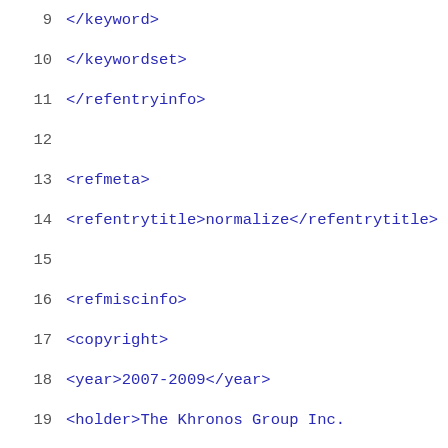9    </keyword>
10    </keywordset>
11    </refentryinfo>
12
13    <refmeta>
14        <refentrytitle>normalize</refentrytitle>
15
16        <refmiscinfo>
17            <copyright>
18                <year>2007-2009</year>
19                <holder>The Khronos Group Inc.
20  Permission is hereby granted, free of charge,
21  copy of this software and/or associated document
22  "Materials"), to deal in the Materials without
23  without limitation the rights to use, copy, mod
24  distribute, sublicense, and/or sell copies of th
25  permit persons to whom the Materials are furnish
26  the condition that this copyright notice and pe
27  in all copies or substantial portions of the Ma
28            </copyright>
29            </refmiscinfo>
30        <manualnum>2</manualnum>